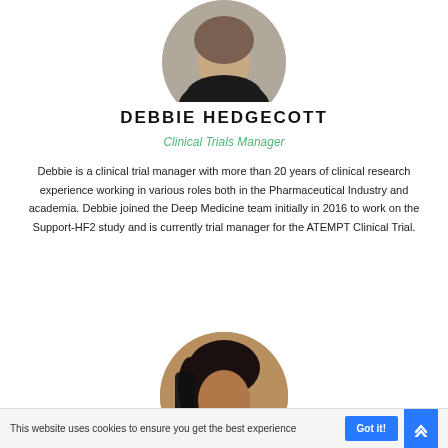[Figure (photo): Circular portrait photo of Debbie Hedgecott, a woman in a black top, partially cropped at top of page]
DEBBIE HEDGECOTT
Clinical Trials Manager
Debbie is a clinical trial manager with more than 20 years of clinical research experience working in various roles both in the Pharmaceutical Industry and academia. Debbie joined the Deep Medicine team initially in 2016 to work on the Support-HF2 study and is currently trial manager for the ATEMPT Clinical Trial.
[Figure (photo): Circular portrait photo of a second person, woman with dark hair, partially visible at bottom of page]
This website uses cookies to ensure you get the best experience